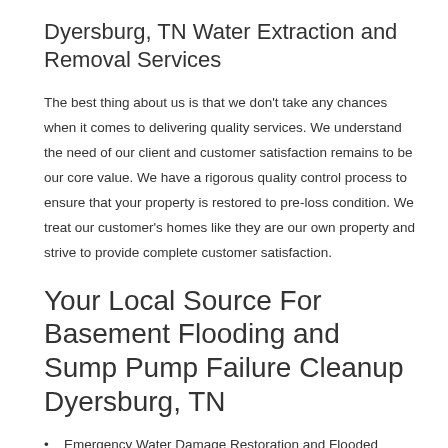Dyersburg, TN Water Extraction and Removal Services
The best thing about us is that we don't take any chances when it comes to delivering quality services. We understand the need of our client and customer satisfaction remains to be our core value. We have a rigorous quality control process to ensure that your property is restored to pre-loss condition. We treat our customer's homes like they are our own property and strive to provide complete customer satisfaction.
Your Local Source For Basement Flooding and Sump Pump Failure Cleanup Dyersburg, TN
Emergency Water Damage Restoration and Flooded Basement Cleanup